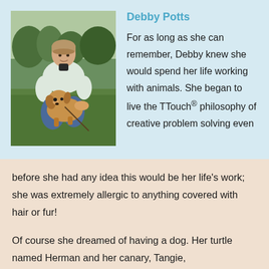[Figure (photo): A woman kneeling on grass outdoors, hugging a golden/reddish dog. She is wearing a light jacket and jeans. Trees visible in background.]
Debby Potts
For as long as she can remember, Debby knew she would spend her life working with animals. She began to live the TTouch® philosophy of creative problem solving even before she had any idea this would be her life's work; she was extremely allergic to anything covered with hair or fur!
Of course she dreamed of having a dog. Her turtle named Herman and her canary, Tangie,